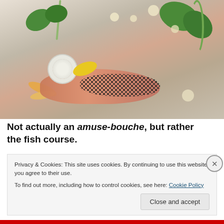[Figure (photo): Plated fish course dish on white plate with salmon fillet, black seeds/caviar, green micro green leaves, white flower, yellow petal, orange carrot strips, and cream sauce dots]
Not actually an amuse-bouche, but rather the fish course.
Privacy & Cookies: This site uses cookies. By continuing to use this website, you agree to their use.
To find out more, including how to control cookies, see here: Cookie Policy